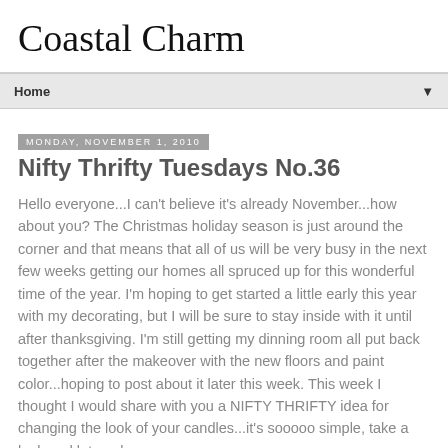Coastal Charm
Home
Monday, November 1, 2010
Nifty Thrifty Tuesdays No.36
Hello everyone...I can't believe it's already November...how about you? The Christmas holiday season is just around the corner and that means that all of us will be very busy in the next few weeks getting our homes all spruced up for this wonderful time of the year. I'm hoping to get started a little early this year with my decorating, but I will be sure to stay inside with it until after thanksgiving. I'm still getting my dinning room all put back together after the makeover with the new floors and paint color...hoping to post about it later this week. This week I thought I would share with you a NIFTY THRIFTY idea for changing the look of your candles...it's sooooo simple, take a look and let me know...